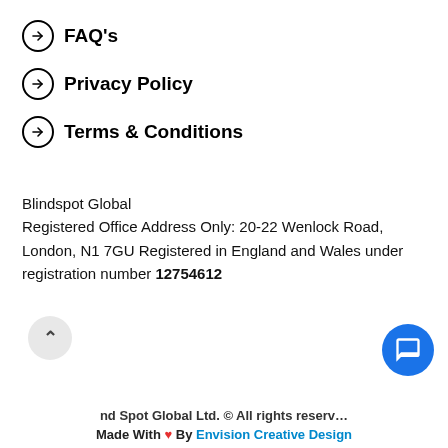→ FAQ's
→ Privacy Policy
→ Terms & Conditions
Blindspot Global
Registered Office Address Only: 20-22 Wenlock Road, London, N1 7GU Registered in England and Wales under registration number 12754612
nd Spot Global Ltd. © All rights reserved
Made With ♥ By Envision Creative Design